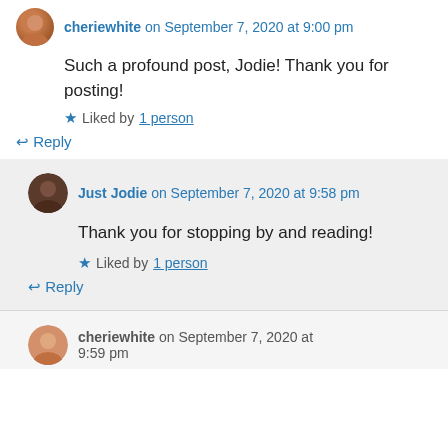cheriewhite on September 7, 2020 at 9:00 pm
Such a profound post, Jodie! Thank you for posting!
Liked by 1 person
Reply
Just Jodie on September 7, 2020 at 9:58 pm
Thank you for stopping by and reading!
Liked by 1 person
Reply
cheriewhite on September 7, 2020 at 9:59 pm